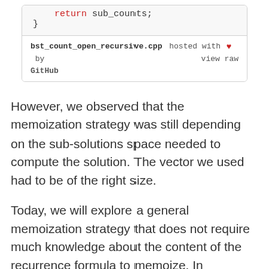[Figure (screenshot): Code snippet box showing 'return sub_counts;' and closing brace, with footer: 'bst_count_open_recursive.cpp hosted with ❤ by GitHub  view raw']
However, we observed that the memoization strategy was still depending on the sub-solutions space needed to compute the solution. The vector we used had to be of the right size.
Today, we will explore a general memoization strategy that does not require much knowledge about the content of the recurrence formula to memoize. In particular, it does not require prior knowledge of the sub-solution